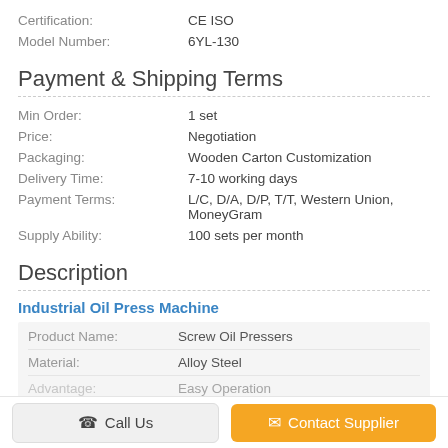Certification: CE ISO
Model Number: 6YL-130
Payment & Shipping Terms
Min Order: 1 set
Price: Negotiation
Packaging: Wooden Carton Customization
Delivery Time: 7-10 working days
Payment Terms: L/C, D/A, D/P, T/T, Western Union, MoneyGram
Supply Ability: 100 sets per month
Description
Industrial Oil Press Machine
| Field | Value |
| --- | --- |
| Product Name: | Screw Oil Pressers |
| Material: | Alloy Steel |
| Advantage: | Easy Operation |
Call Us
Contact Supplier